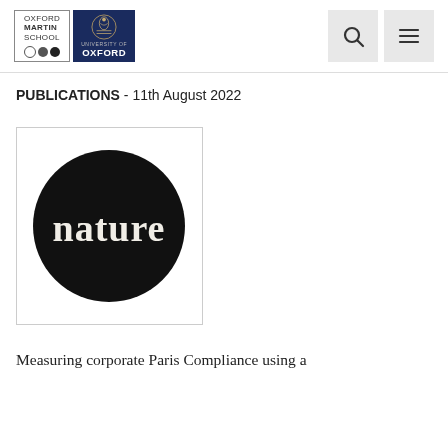[Figure (logo): Oxford Martin School logo with University of Oxford crest, search icon and hamburger menu icon in page header]
PUBLICATIONS - 11th August 2022
[Figure (logo): Nature journal logo: white serif text 'nature' on a black circle background]
Measuring corporate Paris Compliance using a